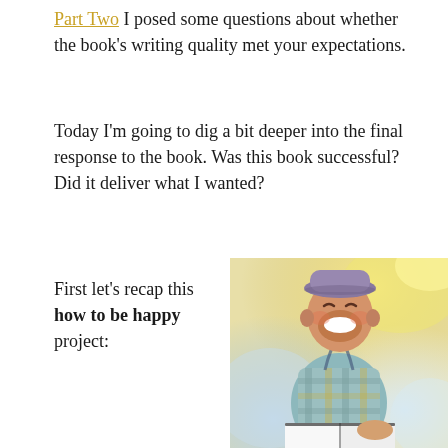Part Two I posed some questions about whether the book's writing quality met your expectations.
Today I'm going to dig a bit deeper into the final response to the book. Was this book successful? Did it deliver what I wanted?
First let's recap this how to be happy project:
[Figure (photo): A young laughing child wearing a plaid shirt and a hat, sitting outdoors with an open book on their lap. Bright, blurred background with warm sunlight.]